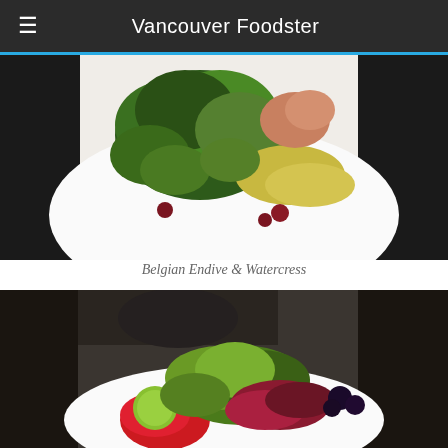Vancouver Foodster
[Figure (photo): Belgian Endive and Watercress salad on a white plate with dried cranberries and shrimp]
Belgian Endive & Watercress
[Figure (photo): Mixed green salad with red sauce, green apple, and dark berries on a white plate, with a person visible in the background]